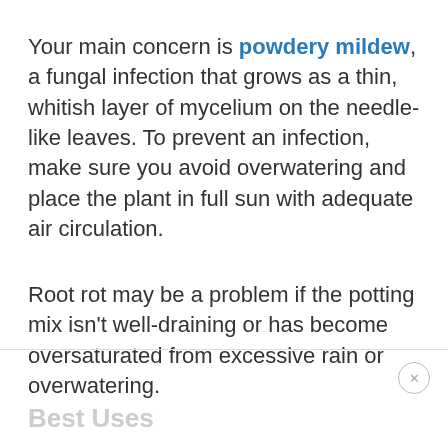Your main concern is powdery mildew, a fungal infection that grows as a thin, whitish layer of mycelium on the needle-like leaves. To prevent an infection, make sure you avoid overwatering and place the plant in full sun with adequate air circulation.
Root rot may be a problem if the potting mix isn't well-draining or has become oversaturated from excessive rain or overwatering.
Best Uses